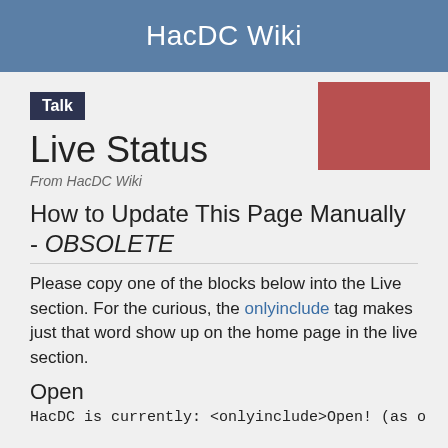HacDC Wiki
Talk
Live Status
From HacDC Wiki
How to Update This Page Manually - OBSOLETE
Please copy one of the blocks below into the Live section. For the curious, the onlyinclude tag makes just that word show up on the home page in the live section.
Open
HacDC is currently: <onlyinclude>Open! (as o